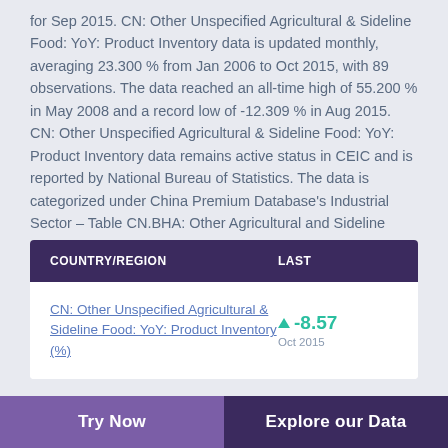for Sep 2015. CN: Other Unspecified Agricultural & Sideline Food: YoY: Product Inventory data is updated monthly, averaging 23.300 % from Jan 2006 to Oct 2015, with 89 observations. The data reached an all-time high of 55.200 % in May 2008 and a record low of -12.309 % in Aug 2015. CN: Other Unspecified Agricultural & Sideline Food: YoY: Product Inventory data remains active status in CEIC and is reported by National Bureau of Statistics. The data is categorized under China Premium Database's Industrial Sector – Table CN.BHA: Other Agricultural and Sideline Food: Other Unspecified Agricultural and Sideline Food.
| COUNTRY/REGION | LAST |
| --- | --- |
| CN: Other Unspecified Agricultural & Sideline Food: YoY: Product Inventory (%) | ▲ -8.57
Oct 2015 |
Try Now    Explore our Data